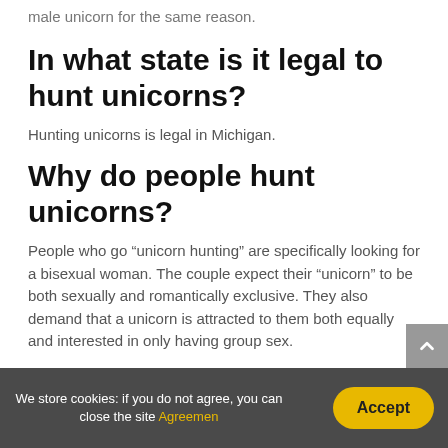relationship. A bisexual couple could also be looking out a male unicorn for the same reason.
In what state is it legal to hunt unicorns?
Hunting unicorns is legal in Michigan.
Why do people hunt unicorns?
People who go “unicorn hunting” are specifically looking for a bisexual woman. The couple expect their “unicorn” to be both sexually and romantically exclusive. They also demand that a unicorn is attracted to them both equally and interested in only having group sex.
What happens when you catch a unicorn?
We store cookies: if you do not agree, you can close the site Agreemen